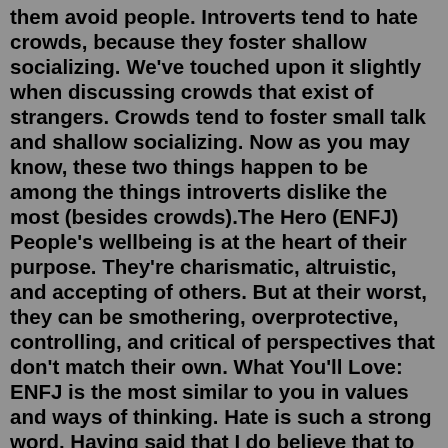them avoid people. Introverts tend to hate crowds, because they foster shallow socializing. We've touched upon it slightly when discussing crowds that exist of strangers. Crowds tend to foster small talk and shallow socializing. Now as you may know, these two things happen to be among the things introverts dislike the most (besides crowds).The Hero (ENFJ) People's wellbeing is at the heart of their purpose. They're charismatic, altruistic, and accepting of others. But at their worst, they can be smothering, overprotective, controlling, and critical of perspectives that don't match their own. What You'll Love: ENFJ is the most similar to you in values and ways of thinking. Hate is such a strong word. Having said that I do believe that to "hate" a type tends to say more about the hater than the hated. There are some types I get along with better than others, but there is no type that I "hate," to do so would be to give MBTI a morally significant power that no theory should be granted, and to me, suggests that the "hater" is either very immature, still doesISTJ: Why